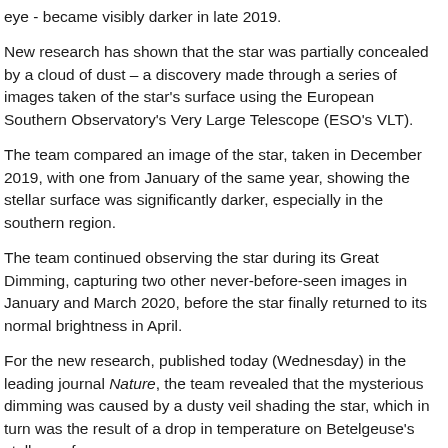eye - became visibly darker in late 2019.
New research has shown that the star was partially concealed by a cloud of dust – a discovery made through a series of images taken of the star's surface using the European Southern Observatory's Very Large Telescope (ESO's VLT).
The team compared an image of the star, taken in December 2019, with one from January of the same year, showing the stellar surface was significantly darker, especially in the southern region.
The team continued observing the star during its Great Dimming, capturing two other never-before-seen images in January and March 2020, before the star finally returned to its normal brightness in April.
For the new research, published today (Wednesday) in the leading journal Nature, the team revealed that the mysterious dimming was caused by a dusty veil shading the star, which in turn was the result of a drop in temperature on Betelgeuse's stellar surface.
While Betelgeuse's surface regularly changes as giant bubbles of gas move, shrink and swell within the star, the researchers suggest that some time before the Great Dimming, the star ejected a large gas